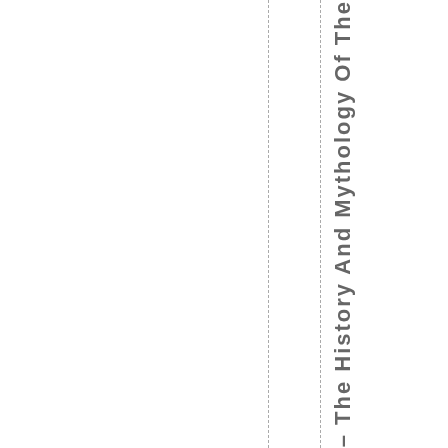ie – The History And Mythology Of The